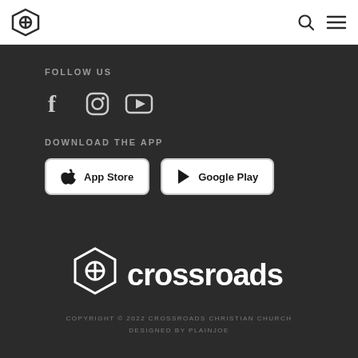Crossroads Church navigation header with logo, search and menu icons
FOLLOW US
[Figure (illustration): Social media icons: Facebook, Instagram, YouTube]
DOWNLOAD THE APP
[Figure (illustration): App Store and Google Play download buttons]
[Figure (logo): Crossroads church logo — icon and wordmark in white]
COPYRIGHT © 2022 CROSSROADS CHRISTIAN CHURCH
DESIGNED BY PLAINJOE